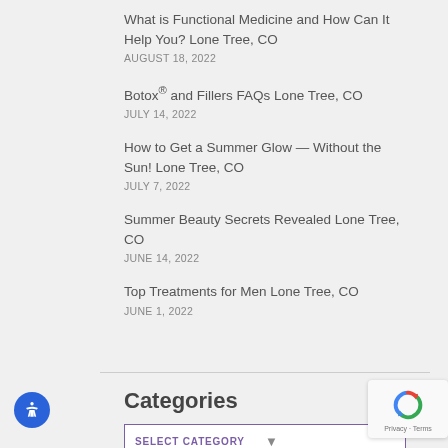What is Functional Medicine and How Can It Help You? Lone Tree, CO
AUGUST 18, 2022
Botox® and Fillers FAQs Lone Tree, CO
JULY 14, 2022
How to Get a Summer Glow — Without the Sun! Lone Tree, CO
JULY 7, 2022
Summer Beauty Secrets Revealed Lone Tree, CO
JUNE 14, 2022
Top Treatments for Men Lone Tree, CO
JUNE 1, 2022
Categories